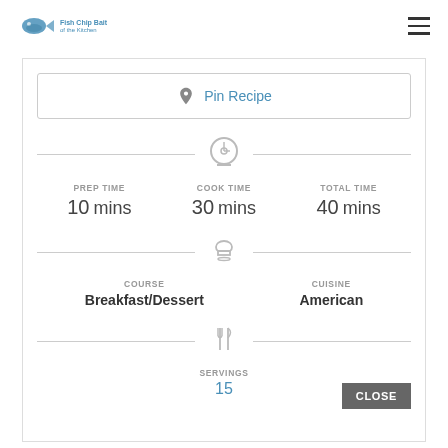Logo and navigation header
[Figure (screenshot): Pinterest pin recipe button with 'Pin Recipe' text in blue]
[Figure (infographic): Timer icon with divider lines]
PREP TIME 10 mins
COOK TIME 30 mins
TOTAL TIME 40 mins
[Figure (infographic): Chef hat icon with divider lines]
COURSE Breakfast/Dessert
CUISINE American
[Figure (infographic): Fork and knife crossed icon with divider lines]
SERVINGS
15